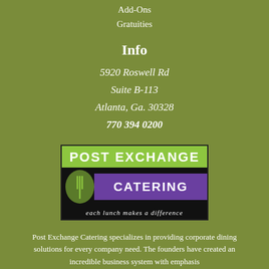Add-Ons
Gratuities
Info
5920 Roswell Rd
Suite B-113
Atlanta, Ga. 30328
770 394 0200
[Figure (logo): Post Exchange Catering logo — green top bar with 'POST EXCHANGE' text, black middle bar with green oval fork icon and purple 'CATERING' text, black bottom bar with 'each lunch makes a difference' tagline]
Post Exchange Catering specializes in providing corporate dining solutions for every company need. The founders have created an incredible business system with emphasis